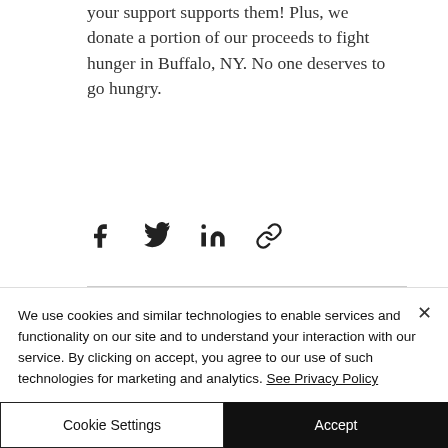your support supports them! Plus, we donate a portion of our proceeds to fight hunger in Buffalo, NY. No one deserves to go hungry.
[Figure (other): Social share icons: Facebook, Twitter, LinkedIn, Link/copy]
[Figure (other): Post stats bar: eye/views icon with count 0, comment box icon, heart/like icon in red]
We use cookies and similar technologies to enable services and functionality on our site and to understand your interaction with our service. By clicking on accept, you agree to our use of such technologies for marketing and analytics. See Privacy Policy
Cookie Settings
Accept